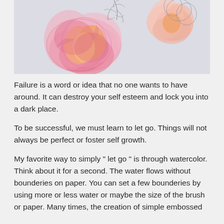[Figure (illustration): Watercolor painting of pink and orange flowers (roses/peonies) with some outline sketches of leaves and buds on a light grey background]
Failure is a word or idea that no one wants to have around. It can destroy your self esteem and lock you into a dark place.
To be successful, we must learn to let go. Things will not always be perfect or foster self growth.
My favorite way to simply " let go " is through watercolor. Think about it for a second. The water flows without bounderies on paper. You can set a few bounderies by using more or less water or maybe the size of the brush or paper. Many times, the creation of simple embossed